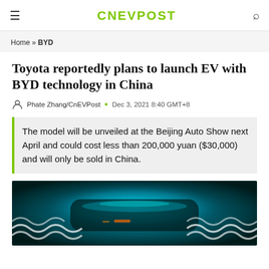CNEVPOST
Home » BYD
Toyota reportedly plans to launch EV with BYD technology in China
Phate Zhang/CnEVPost • Dec 3, 2021 8:40 GMT+8
The model will be unveiled at the Beijing Auto Show next April and could cost less than 200,000 yuan ($30,000) and will only be sold in China.
[Figure (photo): A car with glowing teal/cyan lighting effects and wave patterns, shown at night or in a dark setting.]